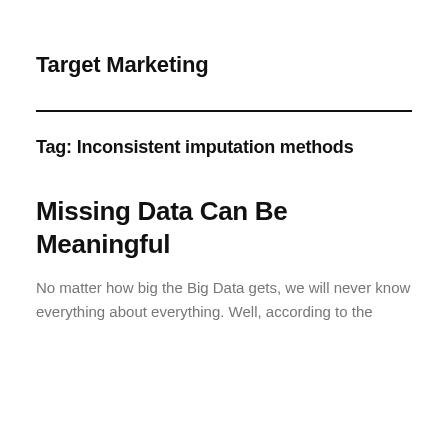Target Marketing
Tag: Inconsistent imputation methods
Missing Data Can Be Meaningful
No matter how big the Big Data gets, we will never know everything about everything. Well, according to the